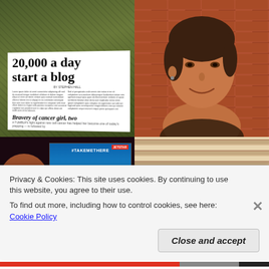[Figure (photo): Newspaper article photo showing headline '20,000 a day start a blog' with subheading 'Bravery of cancer girl, two', placed on grass/outdoor background]
[Figure (photo): Portrait photo of a smiling woman with short dark hair against a brick wall background]
[Figure (photo): Photo showing a TV screen or billboard with '#TAKEMETHERE' hashtag text, dark background]
[Figure (photo): Photo with horizontal stripes in warm tan/brown tones with red/orange strip at bottom]
Privacy & Cookies: This site uses cookies. By continuing to use this website, you agree to their use.
To find out more, including how to control cookies, see here: Cookie Policy
Close and accept